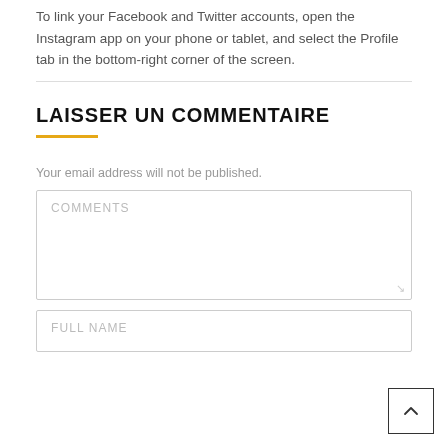To link your Facebook and Twitter accounts, open the Instagram app on your phone or tablet, and select the Profile tab in the bottom-right corner of the screen.
LAISSER UN COMMENTAIRE
Your email address will not be published.
COMMENTS
FULL NAME